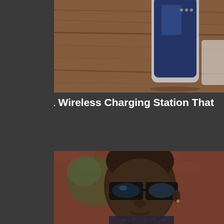[Figure (photo): Close-up photo of a smartphone on a wooden table surface, showing the corner and edge of the phone]
This 3 In 1 Wireless Charging Station That You' Owning
Tech Gadgets
[Figure (photo): Portrait photo of a man wearing thick black-framed glasses, dark dotted shirt, with a blurred brick wall and plant in background]